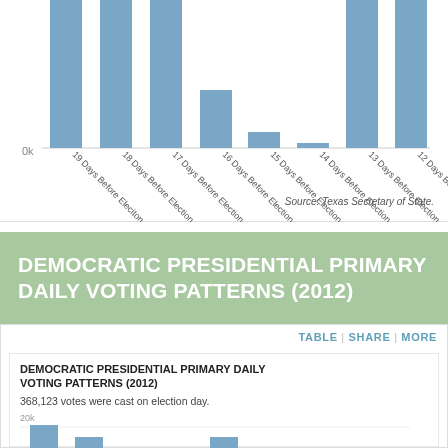[Figure (bar-chart): Republican Presidential Primary Daily Voting Patterns (partial)]
Source: Texas Secretary of State.
DEMOCRATIC PRESIDENTIAL PRIMARY DAILY VOTING PATTERNS (2012)
TABLE | SHARE | MORE
DEMOCRATIC PRESIDENTIAL PRIMARY DAILY VOTING PATTERNS (2012)
368,123 votes were cast on election day.
[Figure (bar-chart): Partial bar chart visible at bottom of page showing daily voting patterns]